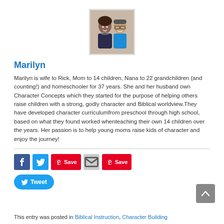[Figure (photo): Photo of a smiling couple — a woman and a man — appearing to be an author profile picture]
Marilyn
Marilyn is wife to Rick, Mom to 14 children, Nana to 22 grandchildren (and counting!) and homeschooler for 37 years. She and her husband own Character Concepts which they started for the purpose of helping others raise children with a strong, godly character and Biblical worldview.They have developed character curriculumfrom preschool through high school, based on what they found worked whenteaching their own 14 children over the years. Her passion is to help young moms raise kids of character and enjoy the journey!
This entry was posted in Biblical Instruction, Character Building